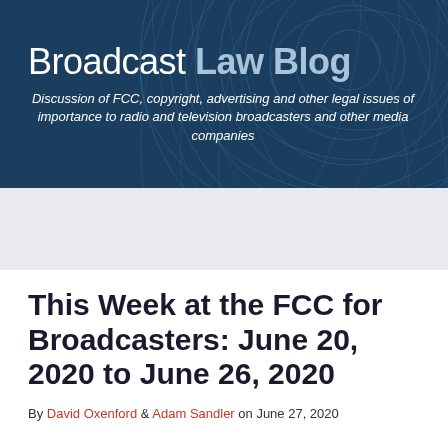[Figure (illustration): Broadcast Law Blog header banner with dark blue background and abstract concentric circular wave patterns in lighter blue. Contains the blog title and subtitle text overlaid.]
Broadcast Law Blog
Discussion of FCC, copyright, advertising and other legal issues of importance to radio and television broadcasters and other media companies
This Week at the FCC for Broadcasters: June 20, 2020 to June 26, 2020
By David Oxenford & Adam Sandler on June 27, 2020